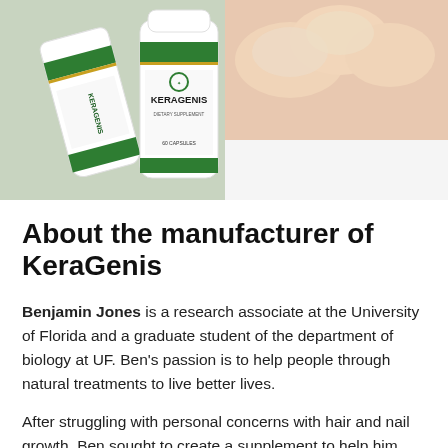[Figure (photo): Two white and green Keragenis dietary supplement bottles with 'KERAGENIS' label, alongside a close-up of healthy fingernails on a white fabric background.]
About the manufacturer of KeraGenis
Benjamin Jones is a research associate at the University of Florida and a graduate student of the department of biology at UF. Ben's passion is to help people through natural treatments to live better lives.
After struggling with personal concerns with hair and nail growth, Ben sought to create a supplement to help him